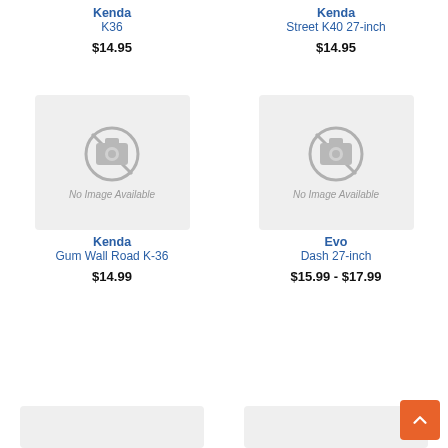Kenda K36
$14.95
Kenda Street K40 27-inch
$14.95
[Figure (photo): No Image Available placeholder for Kenda Gum Wall Road K-36]
Kenda Gum Wall Road K-36
$14.99
[Figure (photo): No Image Available placeholder for Evo Dash 27-inch]
Evo Dash 27-inch
$15.99 - $17.99